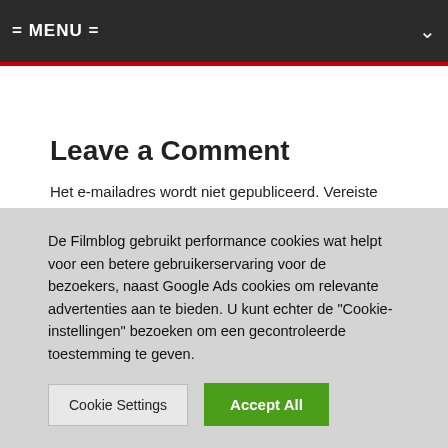= MENU =
Leave a Comment
Het e-mailadres wordt niet gepubliceerd. Vereiste velden zijn gemarkeerd met *
[Figure (screenshot): Comment text input field placeholder showing 'Comment...']
De Filmblog gebruikt performance cookies wat helpt voor een betere gebruikerservaring voor de bezoekers, naast Google Ads cookies om relevante advertenties aan te bieden. U kunt echter de "Cookie-instellingen" bezoeken om een gecontroleerde toestemming te geven.
Cookie Settings | Accept All